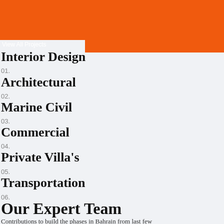View All Projects
Interior Design
01.
Architectural
02.
Marine Civil
03.
Commercial
04.
Private Villa's
05.
Transportation
06.
Our Expert Team
Contributions to build the phases in Bahrain from last few